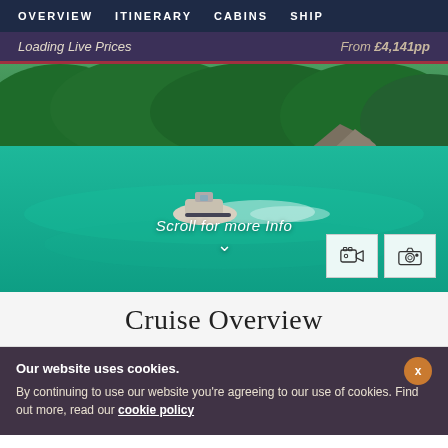OVERVIEW  ITINERARY  CABINS  SHIP
Loading Live Prices   From £4,141pp
[Figure (photo): Aerial view of a small motorboat on vivid turquoise water surrounded by lush green forested hills. Text overlay reads 'Scroll for more Info' with a chevron arrow below, and two icon buttons (video camera and still camera) in the bottom right.]
Cruise Overview
Our website uses cookies.
By continuing to use our website you're agreeing to our use of cookies. Find out more, read our cookie policy